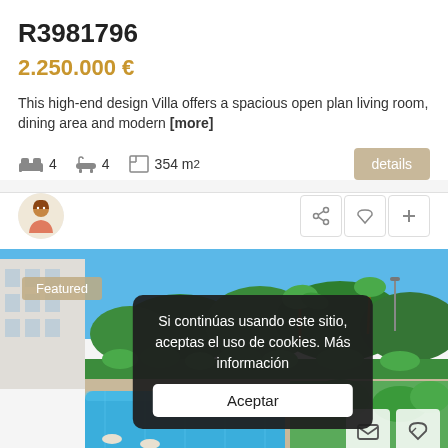R3981796
2.250.000 €
This high-end design Villa offers a spacious open plan living room, dining area and modern [more]
4 bedrooms  4 bathrooms  354 m²
[Figure (screenshot): Real estate listing screenshot showing a photo of a property with pool, garden, and trees. Featured badge overlay. Cookie consent popup overlay at bottom center with text 'Si continúas usando este sitio, aceptas el uso de cookies. Más información' and Aceptar button.]